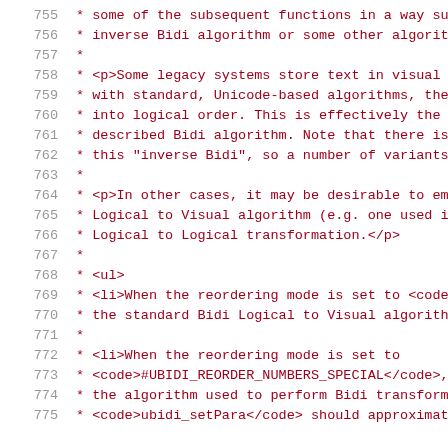755  * some of the subsequent functions in a way su
756  * inverse Bidi algorithm or some other algorit
757  *
758  * <p>Some legacy systems store text in visual
759  * with standard, Unicode-based algorithms, the
760  * into logical order. This is effectively the
761  * described Bidi algorithm. Note that there is
762  * this "inverse Bidi", so a number of variants
763  *
764  * <p>In other cases, it may be desirable to em
765  * Logical to Visual algorithm (e.g. one used i
766  * Logical to Logical transformation.</p>
767  *
768  * <ul>
769  * <li>When the reordering mode is set to <code
770  * the standard Bidi Logical to Visual algorith
771  *
772  * <li>When the reordering mode is set to
773  * <code>#UBIDI_REORDER_NUMBERS_SPECIAL</code>,
774  * the algorithm used to perform Bidi transform
775  * <code>ubidi_setPara</code> should approximat